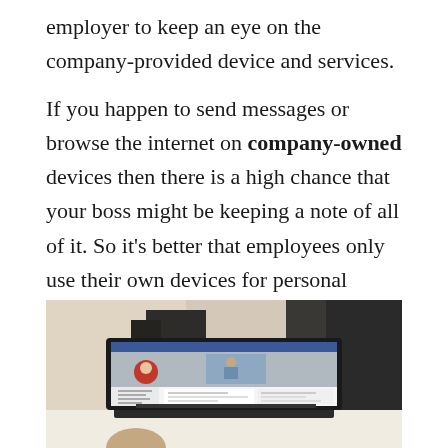employer to keep an eye on the company-provided device and services.
If you happen to send messages or browse the internet on company-owned devices then there is a high chance that your boss might be keeping a note of all of it. So it’s better that employees only use their own devices for personal purposes.
2. Social Media
[Figure (photo): A laptop computer displaying a Facebook profile page, placed on a desk in a blurred indoor background.]